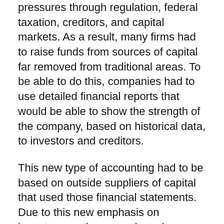pressures through regulation, federal taxation, creditors, and capital markets. As a result, many firms had to raise funds from sources of capital far removed from traditional areas. To be able to do this, companies had to use detailed financial reports that would be able to show the strength of the company, based on historical data, to investors and creditors.
This new type of accounting had to be based on outside suppliers of capital that used those financial statements. Due to this new emphasis on inventory costing procedures by accountants at the turn of the century, there was a profound change in management accounting. Through the subsequent decades, management accountants would increasingly focus their efforts to ensure that the financial accounting objectives were met, and with financial reports released on time. With this shift from managerial accounting to financial accounting, managerial accounting became stagnant. Up until the 1980's, management accounting practices were pushed to the side as